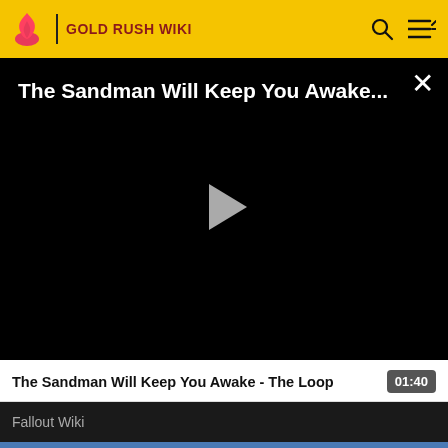GOLD RUSH WIKI
[Figure (screenshot): Video player with black background showing title 'The Sandman Will Keep You Awake...' and a play button in the center, with a close (X) button in the top right corner.]
The Sandman Will Keep You Awake - The Loop
01:40
Fallout Wiki
[Figure (screenshot): Partial thumbnail of the next video showing an outdoor landscape scene.]